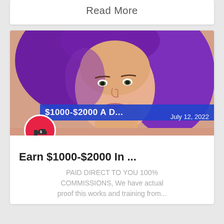Read More
[Figure (photo): Woman with purple hair posing thoughtfully with finger near face; blue banner overlay reading '$1000-$2000 A D...' and date 'July 12, 2022'; red circle icon with money/thumbs-up graphic in lower left corner of image]
Earn $1000-$2000 In ...
PAID DIRECT TO YOU 100% COMMISSIONS, We have actual proof this works and training from...